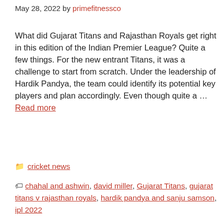May 28, 2022 by primefitnessco
What did Gujarat Titans and Rajasthan Royals get right in this edition of the Indian Premier League? Quite a few things. For the new entrant Titans, it was a challenge to start from scratch. Under the leadership of Hardik Pandya, the team could identify its potential key players and plan accordingly. Even though quite a … Read more
Categories: cricket news
Tags: chahal and ashwin, david miller, Gujarat Titans, gujarat titans v rajasthan royals, hardik pandya and sanju samson, ipl 2022